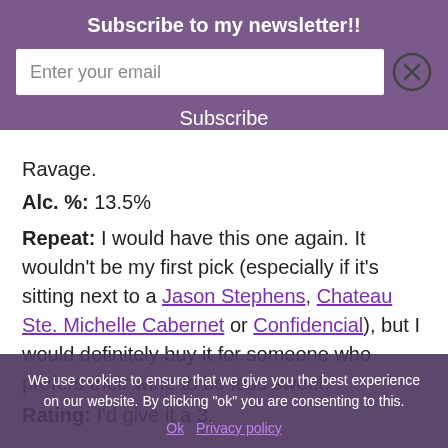Subscribe to my newsletter!!
Enter your email
Subscribe
Ravage.
Alc. %: 13.5%
Repeat: I would have this one again. It wouldn't be my first pick (especially if it's sitting next to a Jason Stephens, Chateau Ste. Michelle Cabernet or Confidencial), but I would definitely buy it for someone who prefers their wine to be less sweet.
Rating: I'd give it a 3.
We use cookies to ensure that we give you the best experience on our website. By clicking "ok" you are consenting to this.
Ok  Privacy policy